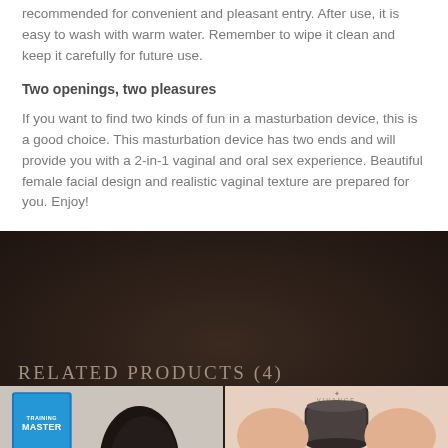recommended for convenient and pleasant entry. After use, it is easy to wash with warm water. Remember to wipe it clean and keep it carefully for future use.
Two openings, two pleasures
If you want to find two kinds of fun in a masturbation device, this is a good choice. This masturbation device has two ends and will provide you with a 2-in-1 vaginal and oral sex experience. Beautiful female facial design and realistic vaginal texture are prepared for you. Enjoy!
RELATED PRODUCTS (4)
[Figure (photo): Product card showing Training Master product box with dark masturbation device]
[Figure (photo): Product card showing Vivance branded product with dark cylinder top and flesh-colored base]